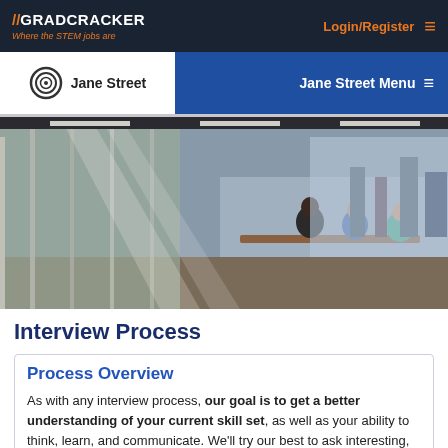// GRADCRACKER Where the STEM jobs are | Login/Register ≡
[Figure (logo): Jane Street company logo bar with white background box showing Jane Street logo and name, blue navigation bar with 'Jane Street Menu ≡']
[Figure (photo): Office interior photo showing people sitting around a conference table with a panoramic city view through glass windows, modern open office space]
Interview Process
Process Overview
As with any interview process, our goal is to get a better understanding of your current skill set, as well as your ability to think, learn, and communicate. We'll try our best to ask interesting, challenging questions during the interview, and